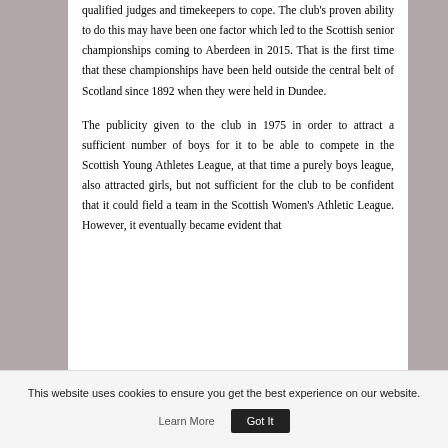qualified judges and timekeepers to cope. The club's proven ability to do this may have been one factor which led to the Scottish senior championships coming to Aberdeen in 2015. That is the first time that these championships have been held outside the central belt of Scotland since 1892 when they were held in Dundee.
The publicity given to the club in 1975 in order to attract a sufficient number of boys for it to be able to compete in the Scottish Young Athletes League, at that time a purely boys league, also attracted girls, but not sufficient for the club to be confident that it could field a team in the Scottish Women's Athletic League. However, it eventually became evident that
This website uses cookies to ensure you get the best experience on our website.